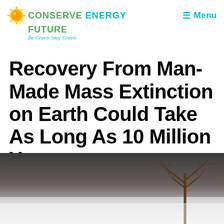CONSERVE ENERGY FUTURE — Be Green. Stay Green. | Menu
Recovery From Man-Made Mass Extinction on Earth Could Take As Long As 10 Million Years
[Figure (photo): A dramatic landscape photo showing a bare, leafless tree against a stormy dark sky at the top, transitioning to a misty white snowy or foggy ground at the bottom.]